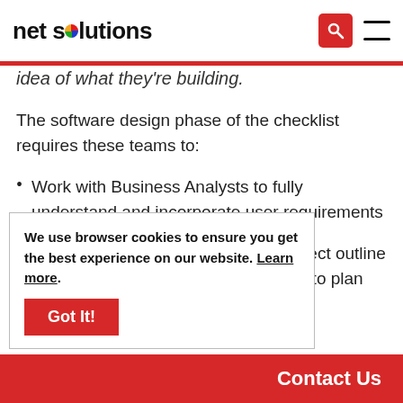net solutions
idea of what they're building.
The software design phase of the checklist requires these teams to:
Work with Business Analysts to fully understand and incorporate user requirements
Incorporate information from the project outline to ensure the design goes according to plan
ny design changes to the entire
ftware architecture, which
We use browser cookies to ensure you get the best experience on our website. Learn more.
Contact Us